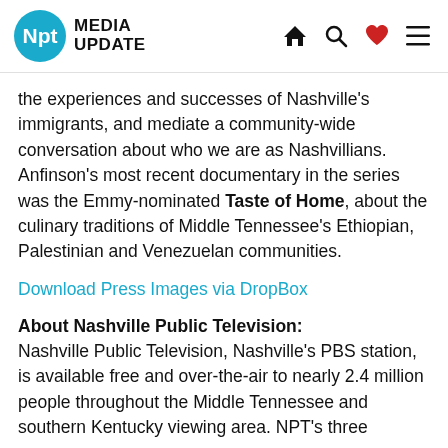Npt MEDIA UPDATE
the experiences and successes of Nashville's immigrants, and mediate a community-wide conversation about who we are as Nashvillians. Anfinson's most recent documentary in the series was the Emmy-nominated Taste of Home, about the culinary traditions of Middle Tennessee's Ethiopian, Palestinian and Venezuelan communities.
Download Press Images via DropBox
About Nashville Public Television: Nashville Public Television, Nashville's PBS station, is available free and over-the-air to nearly 2.4 million people throughout the Middle Tennessee and southern Kentucky viewing area. NPT's three